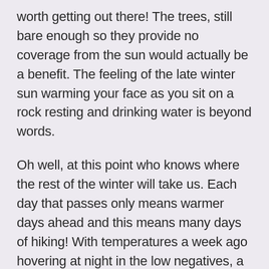worth getting out there! The trees, still bare enough so they provide no coverage from the sun would actually be a benefit. The feeling of the late winter sun warming your face as you sit on a rock resting and drinking water is beyond words.
Oh well, at this point who knows where the rest of the winter will take us. Each day that passes only means warmer days ahead and this means many days of hiking! With temperatures a week ago hovering at night in the low negatives, a little later this week the high will be 53. Will they be proven correct????